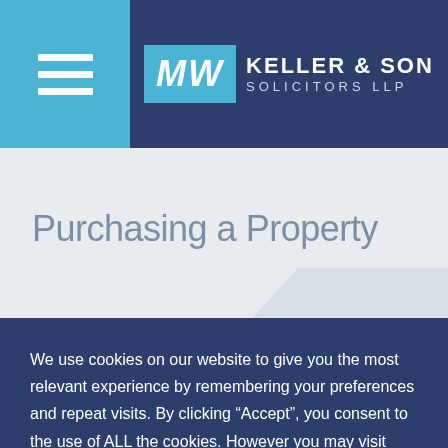[Figure (logo): MW Keller & Son Solicitors LLP logo with hamburger menu icon on cyan background and dark navy header]
Purchasing a Property
We use cookies on our website to give you the most relevant experience by remembering your preferences and repeat visits. By clicking “Accept”, you consent to the use of ALL the cookies. However you may visit Cookie Settings to provide a controlled consent.